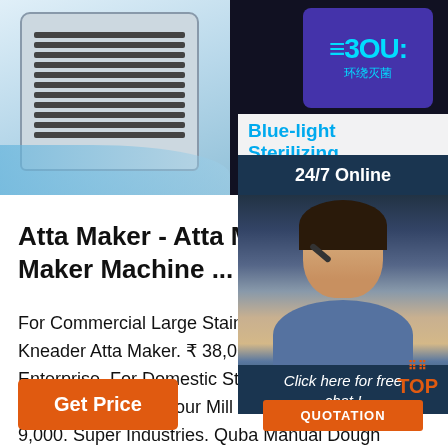[Figure (photo): Top banner with two product images: left side shows a commercial stainless steel machine with grille vents on a blue-white background; right side shows a dark panel with a circular blue sterilization display showing '360' and Chinese characters, with 'Blue-light Sterilizing' text below]
Blue-light Sterilizing
24/7 Online
Atta Maker - Atta Making Mach Maker Machine ...
For Commercial Large Stainless Steel Kneader Atta Maker. ₹ 38,000. Gaurav Enterprise. For Domestic Stainless Ste Automatic Wheat Flour Mill Machine, 9,000. Super Industries. Quba Manual Dough Maker. ₹ 320. Tekshiv Systems Private Limited.
[Figure (photo): Customer service agent photo: woman with dark hair wearing a headset, smiling, in a blue shirt, overlaid on dark navy background]
Click here for free chat !
QUOTATION
TOP
Get Price